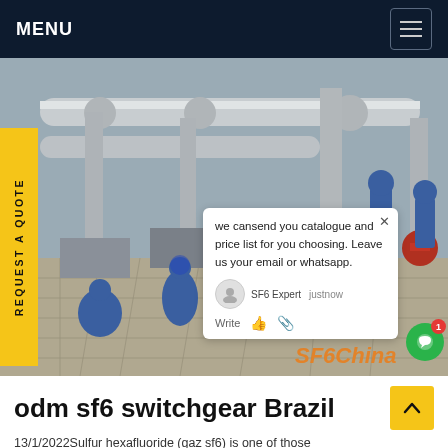MENU
[Figure (photo): Workers in blue uniforms and hard hats working on SF6 switchgear equipment at an outdoor electrical substation. Large grey pipes and industrial equipment visible. SF6China watermark in orange at bottom right.]
REQUEST A QUOTE
we cansend you catalogue and price list for you choosing. Leave us your email or whatsapp.
SF6 Expert   justnow
Write
odm sf6 switchgear Brazil
13/1/2022Sulfur hexafluoride (gaz sf6) is one of those